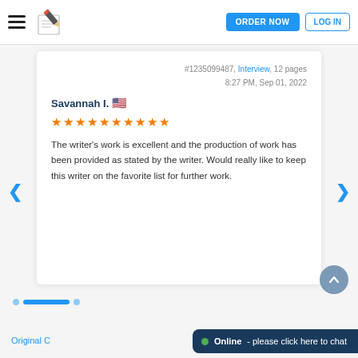ORDER NOW  LOG IN
#1235099487, Interview, 12 pages
8:27 PM, Sep 01, 2022
Savannah I. 🇺🇸
★★★★★★★★★★
The writer's work is excellent and the production of work has been provided as stated by the writer. Would really like to keep this writer on the favorite list for further work.
Online - please click here to chat